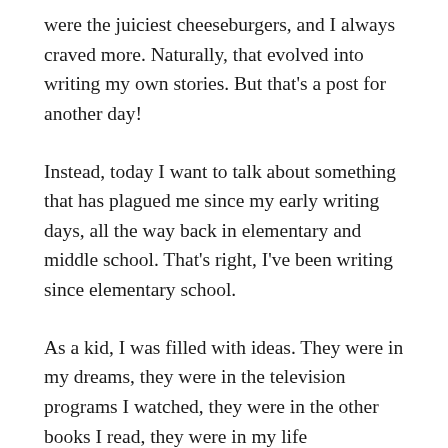were the juiciest cheeseburgers, and I always craved more. Naturally, that evolved into writing my own stories. But that's a post for another day!
Instead, today I want to talk about something that has plagued me since my early writing days, all the way back in elementary and middle school. That's right, I've been writing since elementary school.
As a kid, I was filled with ideas. They were in my dreams, they were in the television programs I watched, they were in the other books I read, they were in my life experiences. They collected like raindrops in my brain. They brewed and stewed and percolated.